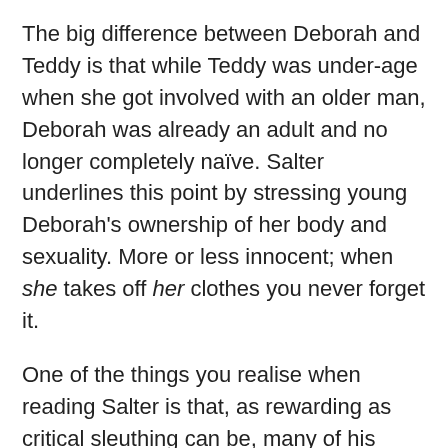The big difference between Deborah and Teddy is that while Teddy was under-age when she got involved with an older man, Deborah was already an adult and no longer completely naïve. Salter underlines this point by stressing young Deborah's ownership of her body and sexuality. More or less innocent; when she takes off her clothes you never forget it.
One of the things you realise when reading Salter is that, as rewarding as critical sleuthing can be, many of his stories are built around gaps that are simply too large to fill by the mere act of reading. Salter invites us to compare and contrast the stories of these two Hollywood women in order to determine why they turned out so differently. James Salter was born in 1925 and his age invites us to fill in the blanks